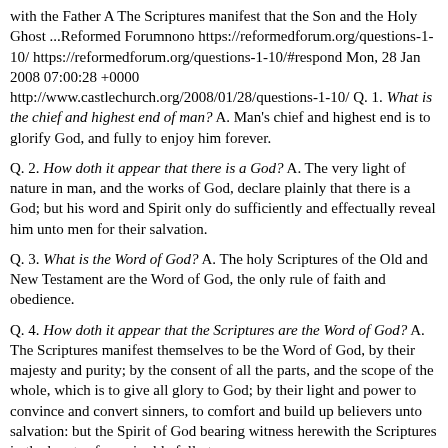with the Father A The Scriptures manifest that the Son and the Holy Ghost ...Reformed Forumnono https://reformedforum.org/questions-1-10/ https://reformedforum.org/questions-1-10/#respond Mon, 28 Jan 2008 07:00:28 +0000 http://www.castlechurch.org/2008/01/28/questions-1-10/ Q. 1. What is the chief and highest end of man? A. Man's chief and highest end is to glorify God, and fully to enjoy him forever.
Q. 2. How doth it appear that there is a God? A. The very light of nature in man, and the works of God, declare plainly that there is a God; but his word and Spirit only do sufficiently and effectually reveal him unto men for their salvation.
Q. 3. What is the Word of God? A. The holy Scriptures of the Old and New Testament are the Word of God, the only rule of faith and obedience.
Q. 4. How doth it appear that the Scriptures are the Word of God? A. The Scriptures manifest themselves to be the Word of God, by their majesty and purity; by the consent of all the parts, and the scope of the whole, which is to give all glory to God; by their light and power to convince and convert sinners, to comfort and build up believers unto salvation: but the Spirit of God bearing witness herewith the Scriptures in the hearts of men is able fully to